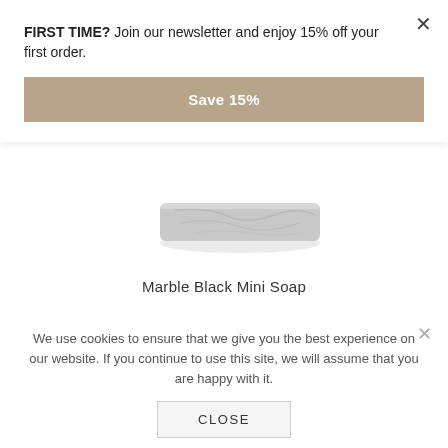FIRST TIME? Join our newsletter and enjoy 15% off your first order.
Save 15%
[Figure (photo): Marble Black Mini Soap product image — a flat, dark marble-patterned soap bar viewed from above on white background]
Marble Black Mini Soap
We use cookies to ensure that we give you the best experience on our website. If you continue to use this site, we will assume that you are happy with it.
CLOSE